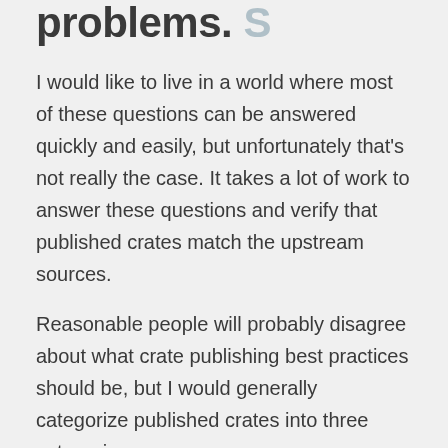problems.
I would like to live in a world where most of these questions can be answered quickly and easily, but unfortunately that's not really the case. It takes a lot of work to answer these questions and verify that published crates match the upstream sources.
Reasonable people will probably disagree about what crate publishing best practices should be, but I would generally categorize published crates into three categories: